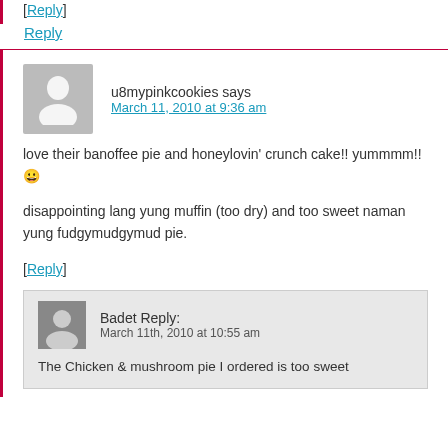[Reply]
Reply
u8mypinkcookies says
March 11, 2010 at 9:36 am
love their banoffee pie and honeylovin' crunch cake!! yummmm!! 😀

disappointing lang yung muffin (too dry) and too sweet naman yung fudgymudgymud pie.
[Reply]
Badet Reply:
March 11th, 2010 at 10:55 am
The Chicken & mushroom pie I ordered is too sweet